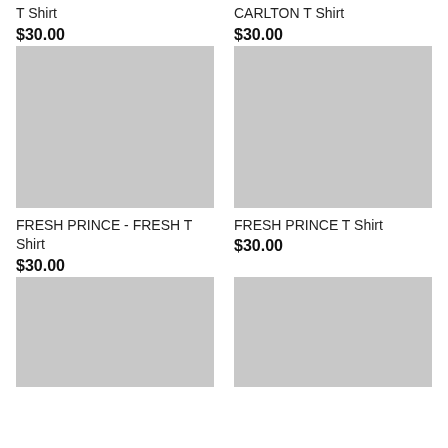T Shirt
CARLTON T Shirt
$30.00
$30.00
[Figure (photo): Gray placeholder image for product]
[Figure (photo): Gray placeholder image for product]
FRESH PRINCE - FRESH T Shirt
FRESH PRINCE T Shirt
$30.00
$30.00
[Figure (photo): Gray placeholder image for product]
[Figure (photo): Gray placeholder image for product]